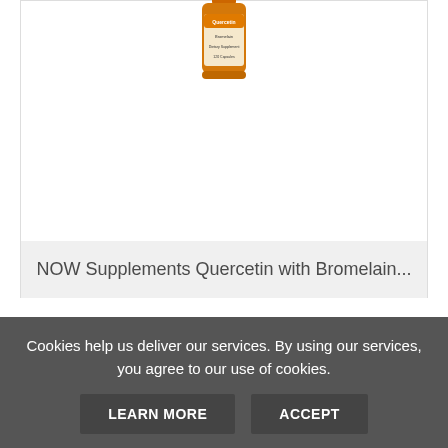[Figure (photo): Supplement bottle product image for NOW Supplements Quercetin with Bromelain]
NOW Supplements Quercetin with Bromelain...
$45.00
[Figure (other): 5 gold stars rating]
VIEW
BUY NOW
Cookies help us deliver our services. By using our services, you agree to our use of cookies.
LEARN MORE
ACCEPT